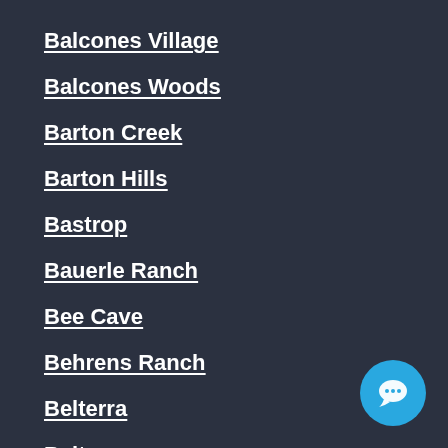Balcones Village
Balcones Woods
Barton Creek
Barton Hills
Bastrop
Bauerle Ranch
Bee Cave
Behrens Ranch
Belterra
Belton